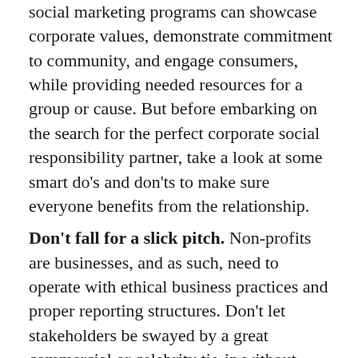social marketing programs can showcase corporate values, demonstrate commitment to community, and engage consumers, while providing needed resources for a group or cause. But before embarking on the search for the perfect corporate social responsibility partner, take a look at some smart do's and don'ts to make sure everyone benefits from the relationship.
Don't fall for a slick pitch. Non-profits are businesses, and as such, need to operate with ethical business practices and proper reporting structures. Don't let stakeholders be swayed by a great commercial or celebrity tie-in without doing the due diligence to determine if a group is well-managed and without reputation risk. It's easy to think you know what groups are legitimate, but who could have foreseen the recent allegations of waste and mismanagement at the Wounded Warrior Project? There are many ways to check out an organization before partnering.
Charity Navigator, The Journal of Philanthropy and even the